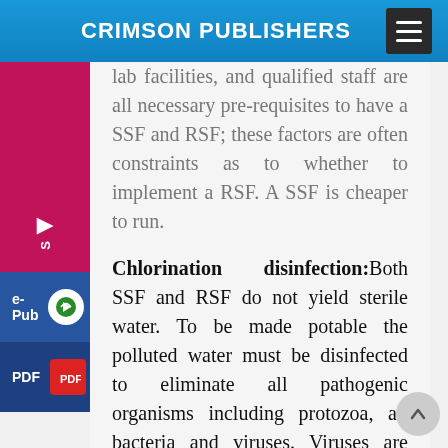CRIMSON PUBLISHERS
lab facilities, and qualified staff are all necessary pre-requisites to have a SSF and RSF; these factors are often constraints as to whether to implement a RSF. A SSF is cheaper to run.
Chlorination disinfection: Both SSF and RSF do not yield sterile water. To be made potable the polluted water must be disinfected to eliminate all pathogenic organisms including protozoa, all bacteria and viruses. Viruses are obligate parasites and need a living cell to survive; accordingly the disinfection process must eliminate all living cells which will include all viruses. Numerous (over 70)